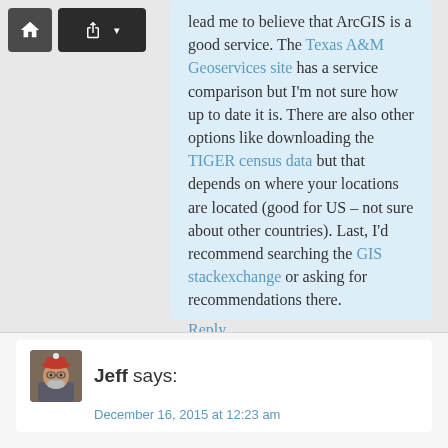lead me to believe that ArcGIS is a good service. The Texas A&M Geoservices site has a service comparison but I'm not sure how up to date it is. There are also other options like downloading the TIGER census data but that depends on where your locations are located (good for US – not sure about other countries). Last, I'd recommend searching the GIS stackexchange or asking for recommendations there.
Reply
Jeff says:
December 16, 2015 at 12:23 am